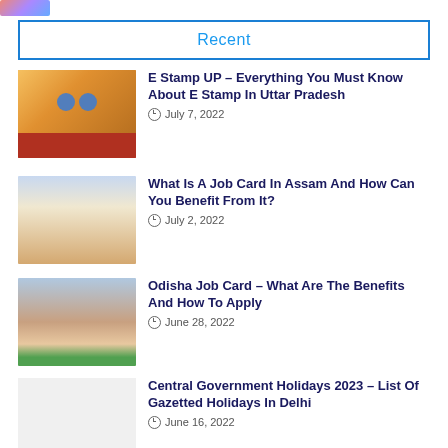[Figure (logo): Website logo in top-left corner]
Recent
E Stamp UP – Everything You Must Know About E Stamp In Uttar Pradesh
July 7, 2022
What Is A Job Card In Assam And How Can You Benefit From It?
July 2, 2022
Odisha Job Card – What Are The Benefits And How To Apply
June 28, 2022
Central Government Holidays 2023 – List Of Gazetted Holidays In Delhi
June 16, 2022